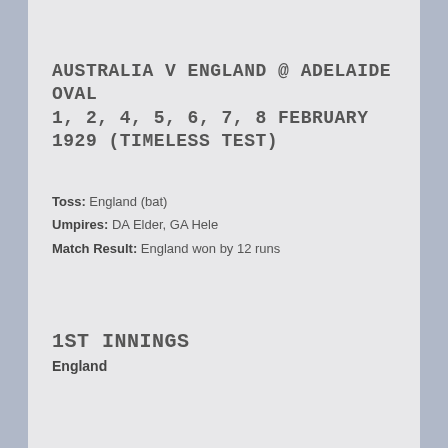AUSTRALIA V ENGLAND @ ADELAIDE OVAL 1, 2, 4, 5, 6, 7, 8 FEBRUARY 1929 (TIMELESS TEST)
Toss: England (bat)
Umpires: DA Elder, GA Hele
Match Result: England won by 12 runs
1ST INNINGS
England
|  | Runs | Balls | Mins | 4s | 6s |
| --- | --- | --- | --- | --- | --- |
| 1. Jack Hobbs |  |  |  |  |  |
| c Jack Ryder b Stork Hendry |  |  |  |  |  |
| 74 |  |  |  |  |  |